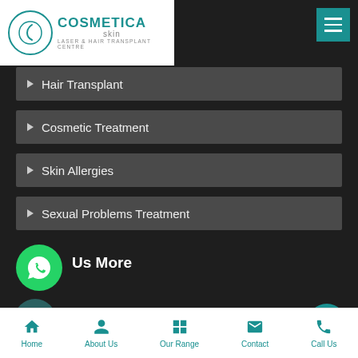[Figure (logo): Cosmetica Skin Laser & Hair Transplant Centre logo with teal circular emblem]
Hair Transplant
Cosmetic Treatment
Skin Allergies
Sexual Problems Treatment
Us More
Book Appointment
Bahadur Nagar, Income r 302018
Mobile : +91-9799976999
Home | About Us | Our Range | Contact | Call Us